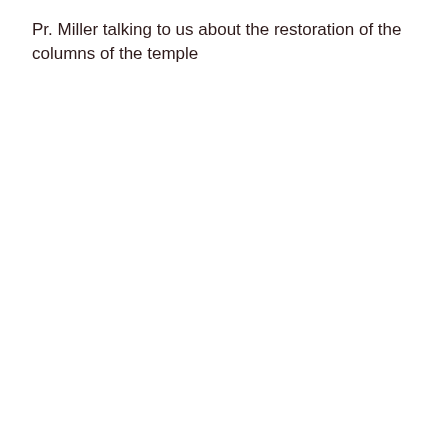Pr. Miller talking to us about the restoration of the columns of the temple